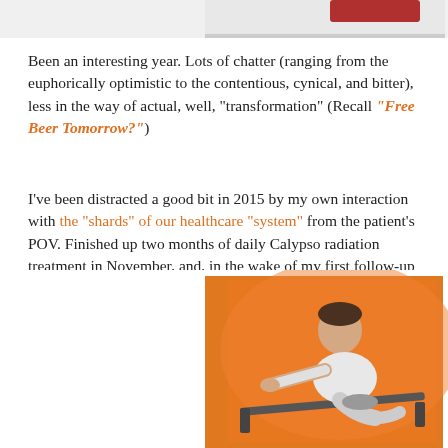[Figure (photo): Top portion of an image, partially visible at top of page – appears to show a red/dark object on light background]
Been an interesting year. Lots of chatter (ranging from the euphorically optimistic to the contentious, cynical, and bitter), less in the way of actual, well, "transformation" (Recall "Free Beer Tomorrow?")
I've been distracted a good bit in 2015 by my own interaction with the "shards" of our healthcare "system" from the patient's POV. Finished up two months of daily Calypso radiation treatment in November, and, in the wake of my first follow-up with my oncologist, looks like I'm good to go. Now I just gotta get back in shape. To that end, we bought a fancy NordicTrack rowing machine, and I've started giving it my Frank Underwood best.
[Figure (illustration): Illustration of a man rowing on a rowing machine against an orange background, styled like a vector/cartoon illustration]